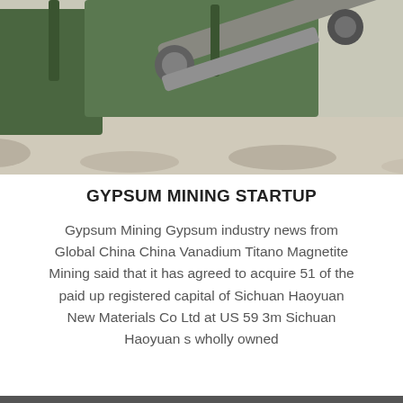[Figure (photo): Industrial mining machinery — green conveyor/belt equipment with metal arms, rocky/dusty ground in background]
GYPSUM MINING STARTUP
Gypsum Mining Gypsum industry news from Global China China Vanadium Titano Magnetite Mining said that it has agreed to acquire 51 of the paid up registered capital of Sichuan Haoyuan New Materials Co Ltd at US 59 3m Sichuan Haoyuan s wholly owned
[Figure (photo): Industrial pipes and cylindrical equipment in a warehouse/factory interior, grey and white tones]